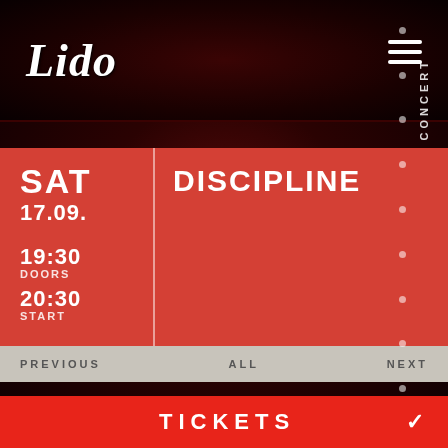[Figure (logo): Lido venue logo in white italic script]
SAT
17.09.
19:30
DOORS
20:30
START
DISCIPLINE
CONCERT
PREVIOUS   ALL   NEXT
18.00 €
VORVERKAUF
+ GEB
TICKETS